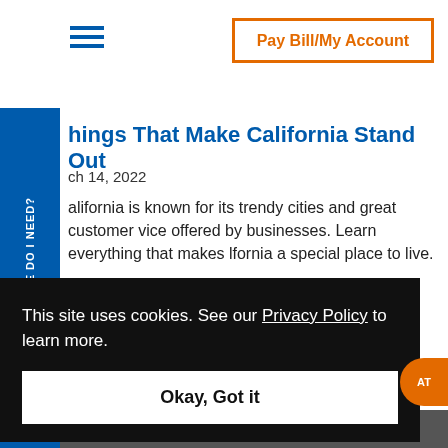Pay Bill/My Account
hings That Make California Stand Out
ch 14, 2022
alifornia is known for its trendy cities and great customer vice offered by businesses. Learn everything that makes lfornia a special place to live.
ead More
This site uses cookies. See our Privacy Policy to learn more.
Okay, Got it